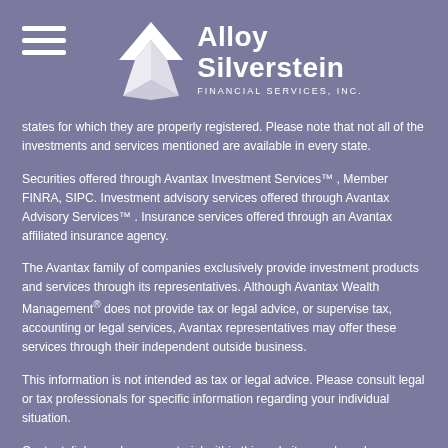[Figure (logo): Alloy Silverstein Financial Services, Inc. logo with hamburger menu icon on left and geometric mountain/diamond SVG icon next to text on a purple background]
states for which they are properly registered. Please note that not all of the investments and services mentioned are available in every state.
Securities offered through Avantax Investment Services™, Member FINRA, SIPC. Investment advisory services offered through Avantax Advisory Services™. Insurance services offered through an Avantax affiliated insurance agency.
The Avantax family of companies exclusively provide investment products and services through its representatives. Although Avantax Wealth Management® does not provide tax or legal advice, or supervise tax, accounting or legal services, Avantax representatives may offer these services through their independent outside business.
This information is not intended as tax or legal advice. Please consult legal or tax professionals for specific information regarding your individual situation.
Content, links, and some material within this website may have been created by Advisor Websites for use by an Avantax affiliated representative. This content is for educational and informational purposes only and does not represent the views and opinions of Avantax Wealth Management® or its subsidiaries. Avantax Wealth Management® is not responsible for and does not control, adopt, or endorse any content contained on any third-party website.